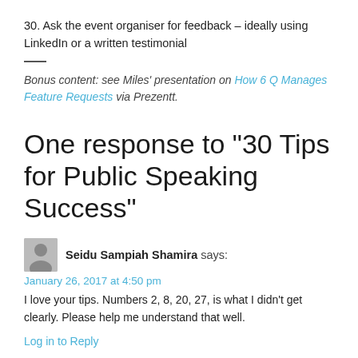30. Ask the event organiser for feedback – ideally using LinkedIn or a written testimonial
Bonus content: see Miles' presentation on How 6 Q Manages Feature Requests via Prezentt.
One response to “30 Tips for Public Speaking Success”
Seidu Sampiah Shamira says:
January 26, 2017 at 4:50 pm
I love your tips. Numbers 2, 8, 20, 27, is what I didn't get clearly. Please help me understand that well.
Log in to Reply